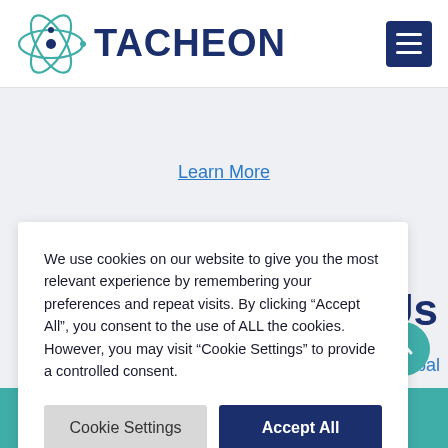[Figure (logo): Tacheon logo with atom/orbital icon in teal and navy blue, and text TACHEON in bold navy]
Learn More
st Us
ading global
We use cookies on our website to give you the most relevant experience by remembering your preferences and repeat visits. By clicking “Accept All”, you consent to the use of ALL the cookies. However, you may visit “Cookie Settings” to provide a controlled consent.
Cookie Settings
Accept All